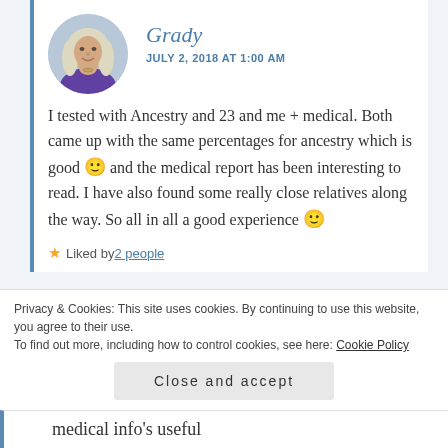[Figure (photo): Circular avatar photo of a woman with long blonde/white hair wearing a purple top]
Grady
JULY 2, 2018 AT 1:00 AM
I tested with Ancestry and 23 and me + medical. Both came up with the same percentages for ancestry which is good 🙂 and the medical report has been interesting to read. I have also found some really close relatives along the way. So all in all a good experience 🙂
★ Liked by 2 people
Privacy & Cookies: This site uses cookies. By continuing to use this website, you agree to their use.
To find out more, including how to control cookies, see here: Cookie Policy
Close and accept
medical info's useful